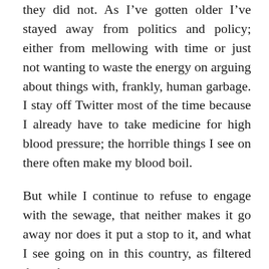they did not. As I've gotten older I've stayed away from politics and policy; either from mellowing with time or just not wanting to waste the energy on arguing about things with, frankly, human garbage. I stay off Twitter most of the time because I already have to take medicine for high blood pressure; the horrible things I see on there often make my blood boil.
But while I continue to refuse to engage with the sewage, that neither makes it go away nor does it put a stop to it, and what I see going on in this country, as filtered through my